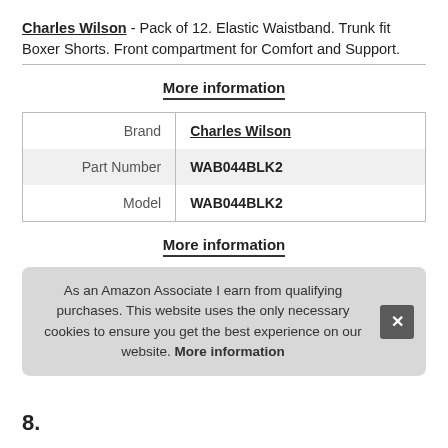Charles Wilson - Pack of 12. Elastic Waistband. Trunk fit Boxer Shorts. Front compartment for Comfort and Support.
More information
| Brand | Charles Wilson |
| Part Number | WAB044BLK2 |
| Model | WAB044BLK2 |
More information
As an Amazon Associate I earn from qualifying purchases. This website uses the only necessary cookies to ensure you get the best experience on our website. More information
8.